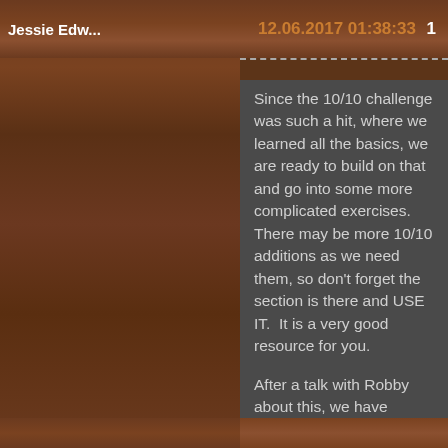Jessie Edw...   12.06.2017 01:38:33   1
Since the 10/10 challenge was such a hit, where we learned all the basics, we are ready to build on that and go into some more complicated exercises.  There may be more 10/10 additions as we need them, so don't forget the section is there and USE IT.  It is a very good resource for you.
After a talk with Robby about this, we have decided that the 10/10 section will be left open for anyone who needs to brush up on their basics so they can come over to the 20/20 and participate. Do not be discouraged!  There is no "falling behind" here.  If we are working on a routine here and you need to go back to something in the original 10/10 section, NO WORRIES!  This is not a race.  You learn the way you need to learn.
Be sure to continue to upload your videos where you are on the 10/10 section under whatever crack you are working on.  We will all be happy to